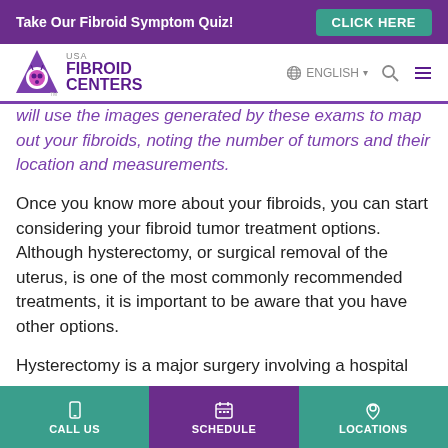Take Our Fibroid Symptom Quiz! CLICK HERE
[Figure (logo): USA Fibroid Centers logo with purple triangle and navigation bar with ENGLISH language selector, search and menu icons]
will use the images generated by these exams to map out your fibroids, noting the number of tumors and their location and measurements.
Once you know more about your fibroids, you can start considering your fibroid tumor treatment options. Although hysterectomy, or surgical removal of the uterus, is one of the most commonly recommended treatments, it is important to be aware that you have other options.
Hysterectomy is a major surgery involving a hospital
CALL US  SCHEDULE  LOCATIONS